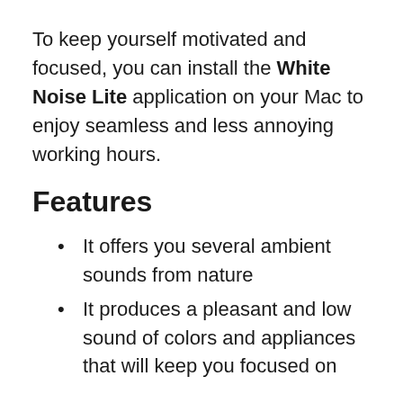To keep yourself motivated and focused, you can install the White Noise Lite application on your Mac to enjoy seamless and less annoying working hours.
Features
It offers you several ambient sounds from nature
It produces a pleasant and low sound of colors and appliances that will keep you focused on